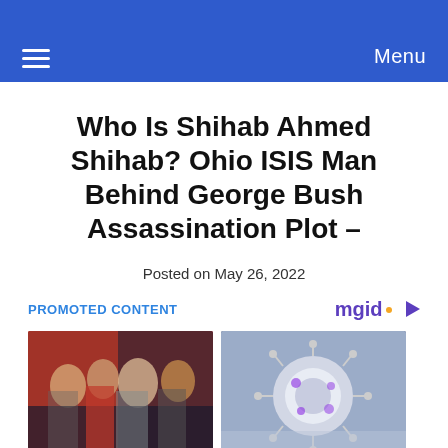Menu
Who Is Shihab Ahmed Shihab? Ohio ISIS Man Behind George Bush Assassination Plot –
Posted on May 26, 2022
PROMOTED CONTENT
[Figure (photo): Group of people posing together, promotional content image]
[Figure (photo): Close-up of a coronavirus/virus particle illustration]